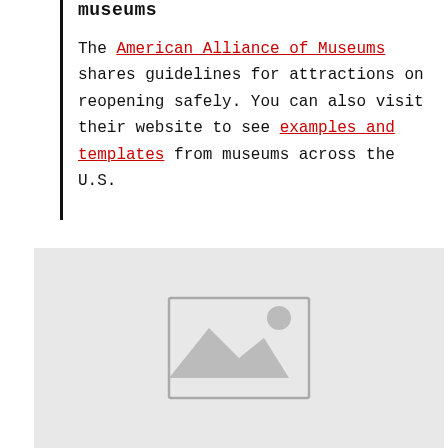museums
The American Alliance of Museums shares guidelines for attractions on reopening safely. You can also visit their website to see examples and templates from museums across the U.S.
[Figure (illustration): A grey placeholder image block containing a small grey image icon in the center-bottom area]